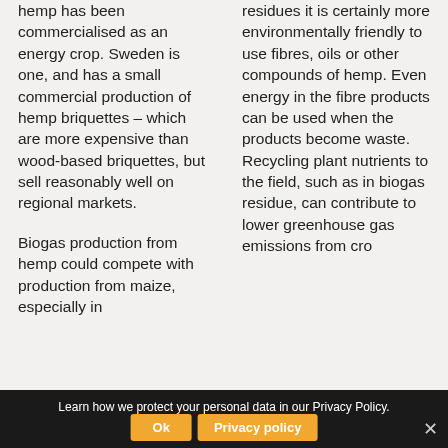hemp has been commercialised as an energy crop. Sweden is one, and has a small commercial production of hemp briquettes – which are more expensive than wood-based briquettes, but sell reasonably well on regional markets.
Biogas production from hemp could compete with production from maize, especially in
residues it is certainly more environmentally friendly to use fibres, oils or other compounds of hemp. Even energy in the fibre products can be used when the products become waste. Recycling plant nutrients to the field, such as in biogas residue, can contribute to lower greenhouse gas emissions from cro
Learn how we protect your personal data in our Privacy Policy.